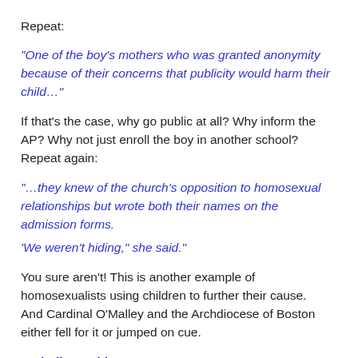Repeat:
"One of the boy's mothers who was granted anonymity because of their concerns that publicity would harm their child…"
If that's the case, why go public at all? Why inform the AP? Why not just enroll the boy in another school? Repeat again:
"…they knew of the church's opposition to homosexual relationships but wrote both their names on the admission forms.
'We weren't hiding," she said."
You sure aren't! This is another example of homosexualists using children to further their cause. And Cardinal O'Malley and the Archdiocese of Boston either fell for it or jumped on cue.
Catholic World News reports: